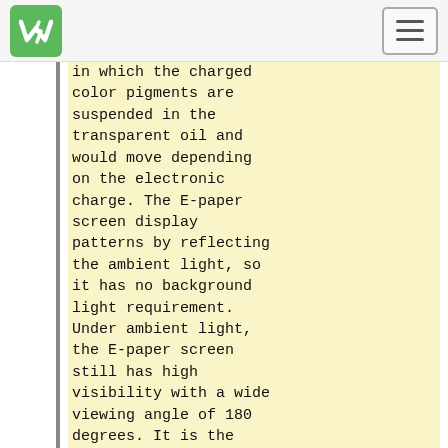WS logo and navigation bar
in which the charged color pigments are suspended in the transparent oil and would move depending on the electronic charge. The E-paper screen display patterns by reflecting the ambient light, so it has no background light requirement. Under ambient light, the E-paper screen still has high visibility with a wide viewing angle of 180 degrees. It is the ideal choice for E-reading. ('''Note that